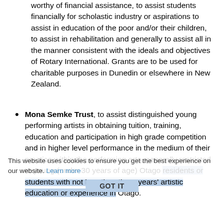worthy of financial assistance, to assist students financially for scholastic industry or aspirations to assist in education of the poor and/or their children, to assist in rehabilitation and generally to assist all in the manner consistent with the ideals and objectives of Rotary International. Grants are to be used for charitable purposes in Dunedin or elsewhere in New Zealand.
Mona Semke Trust, to assist distinguished young performing artists in obtaining tuition, training, education and participation in high grade competition and in higher level performance in the medium of their practice within the performing arts, generally restricted to young (under 30 years of age) Otago residents or students with not less than three years' artistic education or experience in Otago.